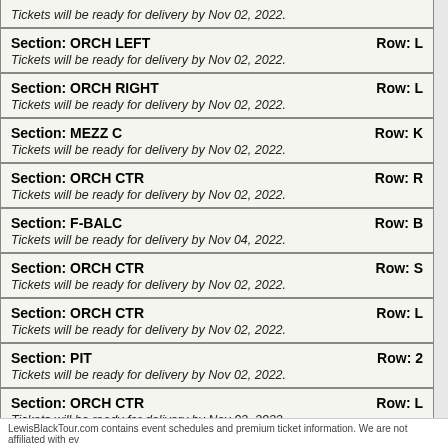| Section | Row | Delivery Info |
| --- | --- | --- |
| (partial top row) |  | Tickets will be ready for delivery by Nov 02, 2022. |
| ORCH LEFT | L | Tickets will be ready for delivery by Nov 02, 2022. |
| ORCH RIGHT | L | Tickets will be ready for delivery by Nov 02, 2022. |
| MEZZ C | K | Tickets will be ready for delivery by Nov 02, 2022. |
| ORCH CTR | R | Tickets will be ready for delivery by Nov 02, 2022. |
| F-BALC | B | Tickets will be ready for delivery by Nov 04, 2022. |
| ORCH CTR | S | Tickets will be ready for delivery by Nov 02, 2022. |
| ORCH CTR | L | Tickets will be ready for delivery by Nov 02, 2022. |
| PIT | 2 | Tickets will be ready for delivery by Nov 02, 2022. |
| ORCH CTR | L | Tickets will be ready for delivery by Nov 02, 2022. |
LewisBlackTour.com contains event schedules and premium ticket information. We are not affiliated with ev